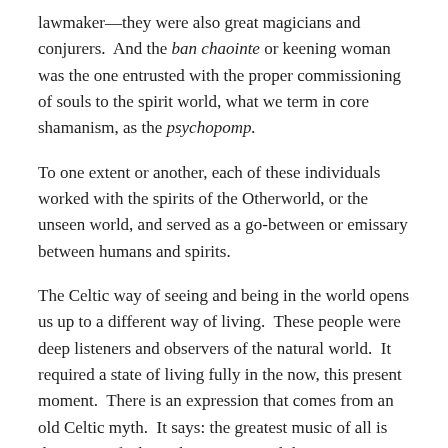lawmaker—they were also great magicians and conjurers.  And the ban chaointe or keening woman was the one entrusted with the proper commissioning of souls to the spirit world, what we term in core shamanism, as the psychopomp.
To one extent or another, each of these individuals worked with the spirits of the Otherworld, or the unseen world, and served as a go-between or emissary between humans and spirits.
The Celtic way of seeing and being in the world opens us up to a different way of living.  These people were deep listeners and observers of the natural world.  It required a state of living fully in the now, this present moment.  There is an expression that comes from an old Celtic myth.  It says: the greatest music of all is the music of what is happening, and that sums up beautifully how the people of this tradition walked